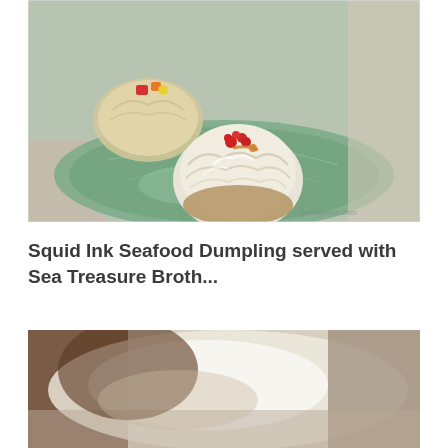[Figure (photo): Close-up photograph of a squid ink seafood dumpling topped with red roe/caviar, served on a decorative green glass leaf-shaped plate. A second dumpling is visible in the background. The dish is garnished with small red and orange toppings. A watermark reads 'pearlgluton.com' in the bottom right corner.]
Squid Ink Seafood Dumpling served with Sea Treasure Broth...
[Figure (photo): Blurred/out-of-focus close-up photograph, appears to show hands or food items in soft focus with beige, white and brown tones.]